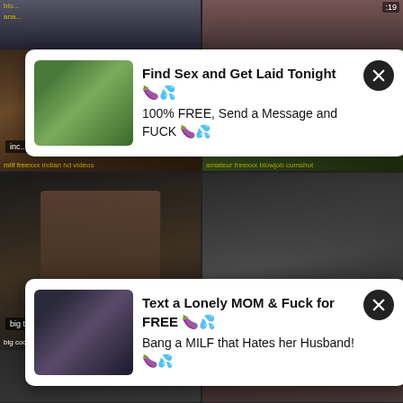[Figure (screenshot): Adult video thumbnail grid with popup ad overlays. Top row shows two partial video thumbnails. Main grid shows 6 video thumbnails with tags and durations. Two white popup ad overlays appear over the grid.]
Find Sex and Get Laid Tonight 🍆💦
100% FREE, Send a Message and FUCK 🍆💦
Text a Lonely MOM & Fuck for FREE 🍆💦
Bang a MILF that Hates her Husband! 🍆💦
milf freexxx indian hd videos
amateur freexxx blowjob cumshot
big cock (shemale) freexxx big tits
amateur freexxx brunette fingering